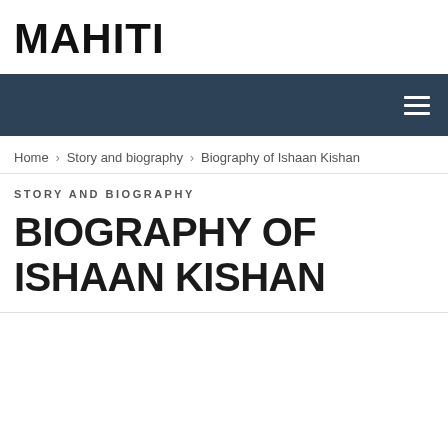MAHITI
[Figure (other): Navigation bar with dark blue background and hamburger menu icon (three white horizontal lines) on the right side]
Home > Story and biography > Biography of Ishaan Kishan
STORY AND BIOGRAPHY
BIOGRAPHY OF ISHAAN KISHAN